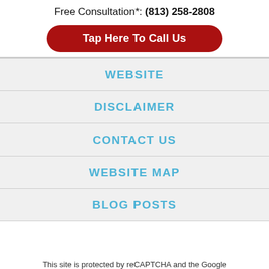Free Consultation*: (813) 258-2808
Tap Here To Call Us
WEBSITE
DISCLAIMER
CONTACT US
WEBSITE MAP
BLOG POSTS
This site is protected by reCAPTCHA and the Google